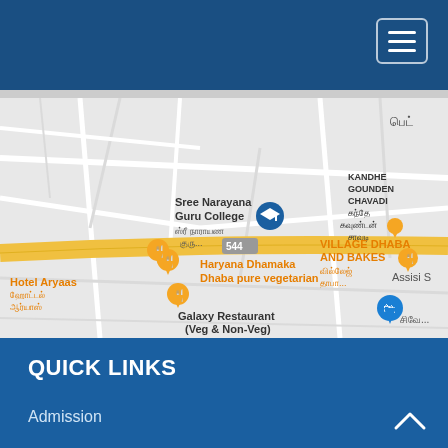Navigation bar with hamburger menu
[Figure (map): Google Maps screenshot showing area around Sree Narayana Guru College. Visible landmarks include: Sree Narayana Guru College (with pin), Haryana Dhamaka Dhaba pure vegetarian (restaurant pin), VILLAGE DHABA AND BAKES (restaurant, with Tamil text வில்லேஜ் தாபா...), KANDHE GOUNDEN CHAVADI (with Tamil text கந்தே கவுண்டன் சாவடி), Hotel Aryaas (with Tamil text ஹோட்டல் ஆர்யாஸ்), Galaxy Restaurant (Veg & Non-Veg), blue shopping pin. Road 544 visible as yellow highway. Text Assisi S... and சிவே... partially visible on right edge. பெட்... text visible top right.]
QUICK LINKS
Admission